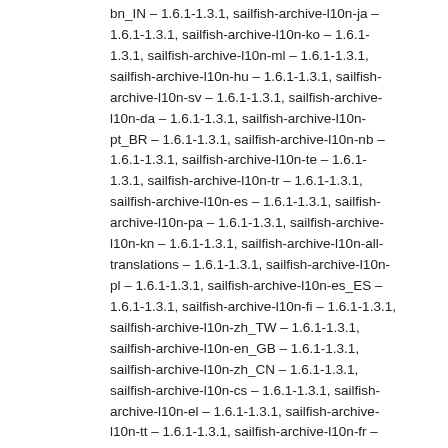bn_IN – 1.6.1-1.3.1, sailfish-archive-l10n-ja – 1.6.1-1.3.1, sailfish-archive-l10n-ko – 1.6.1-1.3.1, sailfish-archive-l10n-ml – 1.6.1-1.3.1, sailfish-archive-l10n-hu – 1.6.1-1.3.1, sailfish-archive-l10n-sv – 1.6.1-1.3.1, sailfish-archive-l10n-da – 1.6.1-1.3.1, sailfish-archive-l10n-pt_BR – 1.6.1-1.3.1, sailfish-archive-l10n-nb – 1.6.1-1.3.1, sailfish-archive-l10n-te – 1.6.1-1.3.1, sailfish-archive-l10n-tr – 1.6.1-1.3.1, sailfish-archive-l10n-es – 1.6.1-1.3.1, sailfish-archive-l10n-pa – 1.6.1-1.3.1, sailfish-archive-l10n-kn – 1.6.1-1.3.1, sailfish-archive-l10n-all-translations – 1.6.1-1.3.1, sailfish-archive-l10n-pl – 1.6.1-1.3.1, sailfish-archive-l10n-es_ES – 1.6.1-1.3.1, sailfish-archive-l10n-fi – 1.6.1-1.3.1, sailfish-archive-l10n-zh_TW – 1.6.1-1.3.1, sailfish-archive-l10n-en_GB – 1.6.1-1.3.1, sailfish-archive-l10n-zh_CN – 1.6.1-1.3.1, sailfish-archive-l10n-cs – 1.6.1-1.3.1, sailfish-archive-l10n-el – 1.6.1-1.3.1, sailfish-archive-l10n-tt – 1.6.1-1.3.1, sailfish-archive-l10n-fr – 1.6.1-1.3.1, sailfish-archive-l10n-ta – 1.6.1-1.3.1, sailfish-archive-l10n-nl – 1.6.1-1.3.1, sailfish-archive-l10n-it – 1.6.1-1.3.1